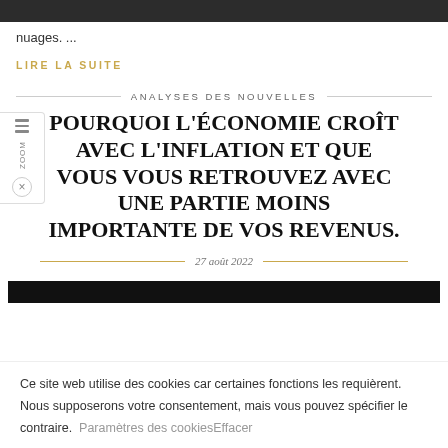nuages. ...
LIRE LA SUITE
ANALYSES DES NOUVELLES
POURQUOI L'ÉCONOMIE CROÎT AVEC L'INFLATION ET QUE VOUS VOUS RETROUVEZ AVEC UNE PARTIE MOINS IMPORTANTE DE VOS REVENUS.
27 août 2022
Ce site web utilise des cookies car certaines fonctions les requièrent. Nous supposerons votre consentement, mais vous pouvez spécifier le contraire. Paramètres des cookiesEffacer